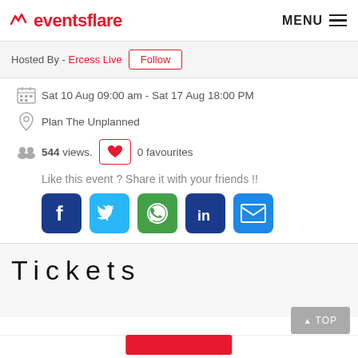eventsflare MENU
Hosted By - Ercess Live | Follow
Sat 10 Aug 09:00 am - Sat 17 Aug 18:00 PM
Plan The Unplanned
544 views. 0 favourites
Like this event ? Share it with your friends !!
[Figure (infographic): Social share icons: Facebook, Twitter, WhatsApp, LinkedIn, Email]
Tickets